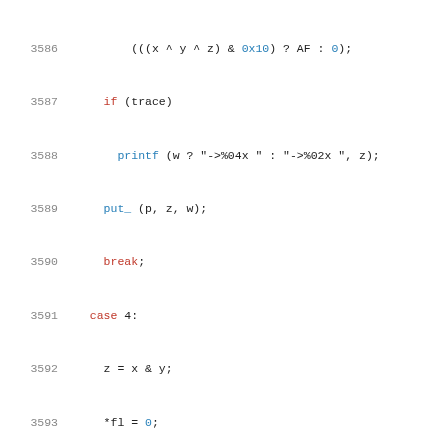Code listing lines 3586-3607, C source code showing arithmetic and bitwise operations with trace/printf/put_ calls and case statements
[Figure (screenshot): Source code listing with line numbers 3586-3607 showing C code with syntax highlighting: red keywords, blue hex values and function names, dark text for operators and variables]